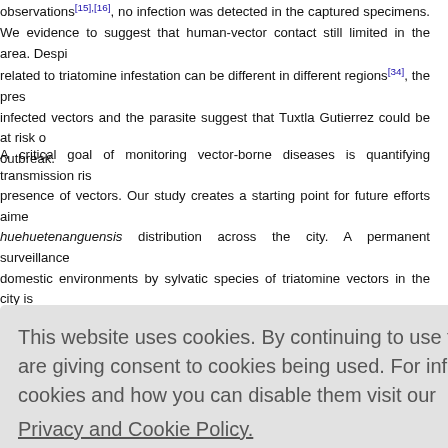observations[15],[16], no infection was detected in the captured specimens. We evidence to suggest that human-vector contact still limited in the area. Despite related to triatomine infestation can be different in different regions[34], the presence of infected vectors and the parasite suggest that Tuxtla Gutierrez could be at risk of an outbreak.
A critical goal of monitoring vector-borne diseases is quantifying transmission risk from the presence of vectors. Our study creates a starting point for future efforts aimed at mapping huehuetenanguensis distribution across the city. A permanent surveillance effort colonization of domestic environments by sylvatic species of triatomine vectors in the city is recommended. Special attention should be devoted to the forest/city interface areas.
This website uses cookies. By continuing to use this website you are giving consent to cookies being used. For information on cookies and how you can disable them visit our Privacy and Cookie Policy. AGREE & PROCEED
uel Cruz-Ca quin-Estrada Félix Gonz of the Preve in the fiel nments.